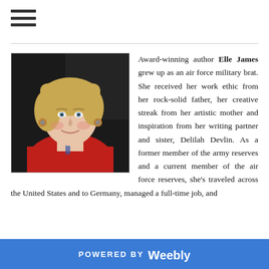[Figure (photo): Portrait photo of Elle James, a blonde woman wearing a red jacket, smiling, against a dark background.]
Award-winning author Elle James grew up as an air force military brat. She received her work ethic from her rock-solid father, her creative streak from her artistic mother and inspiration from her writing partner and sister, Delilah Devlin. As a former member of the army reserves and a current member of the air force reserves, she's traveled across the United States and to Germany, managed a full-time job, and
POWERED BY weebly